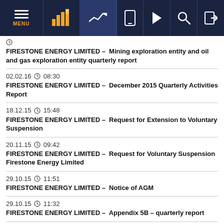Navigation bar with MENU, chart icons, and utility icons
FIRESTONE ENERGY LIMITED – Mining exploration entity and oil and gas exploration entity quarterly report
02.02.16 08:30 FIRESTONE ENERGY LIMITED – December 2015 Quarterly Activities Report
18.12.15 15:48 FIRESTONE ENERGY LIMITED – Request for Extension to Voluntary Suspension
20.11.15 09:42 FIRESTONE ENERGY LIMITED – Request for Voluntary Suspension Firestone Energy Limited
29.10.15 11:51 FIRESTONE ENERGY LIMITED – Notice of AGM
29.10.15 11:32 FIRESTONE ENERGY LIMITED – Appendix 5B – quarterly report
29.10.15 10:50 FIRESTONE ENERGY LIMITED – September 2015 Quarterly Activities